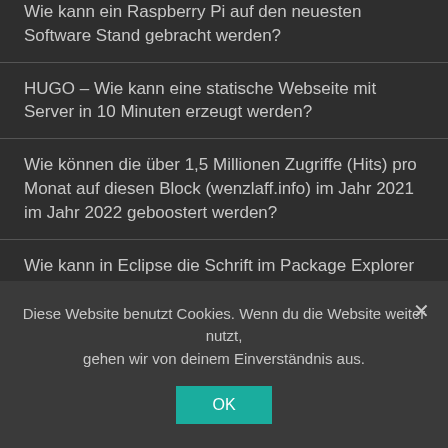Wie kann ein Raspberry Pi auf den neuesten Software Stand gebracht werden?
HUGO – Wie kann eine statische Webseite mit Server in 10 Minuten erzeugt werden?
Wie können die über 1,5 Millionen Zugriffe (Hits) pro Monat auf diesen Block (wenzlaff.info) im Jahr 2021 im Jahr 2022 geboostert werden?
Wie kann in Eclipse die Schrift im Package Explorer Tree oder Projekt Explorer verändert werden?
Neuer Bibelleseplan 2022: Die ganze Bibel in einem Jahr lesen? Kostenlose Pläne für digitale Kalender
Diese Website benutzt Cookies. Wenn du die Website weiter nutzt, gehen wir von deinem Einverständnis aus.